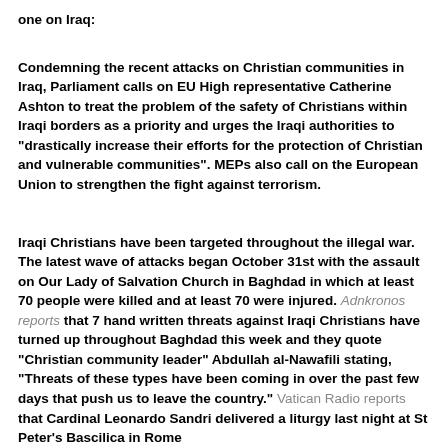one on Iraq:
Condemning the recent attacks on Christian communities in Iraq, Parliament calls on EU High representative Catherine Ashton to treat the problem of the safety of Christians within Iraqi borders as a priority and urges the Iraqi authorities to "drastically increase their efforts for the protection of Christian and vulnerable communities". MEPs also call on the European Union to strengthen the fight against terrorism.
Iraqi Christians have been targeted throughout the illegal war. The latest wave of attacks began October 31st with the assault on Our Lady of Salvation Church in Baghdad in which at least 70 people were killed and at least 70 were injured. Adnkronos reports that 7 hand written threats against Iraqi Christians have turned up throughout Baghdad this week and they quote "Christian community leader" Abdullah al-Nawafili stating, "Threats of these types have been coming in over the past few days that push us to leave the country." Vatican Radio reports that Cardinal Leonardo Sandri delivered a liturgy last night at St Peter's Bascilica in Rome